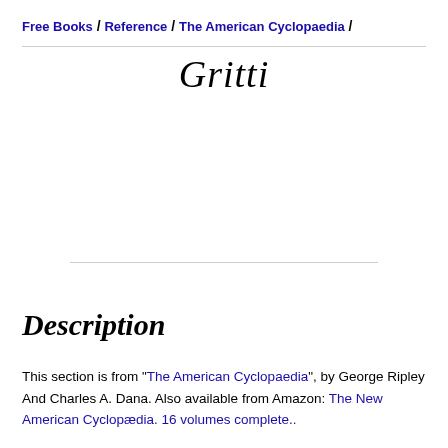Free Books / Reference / The American Cyclopaedia /
Gritti
Description
This section is from "The American Cyclopaedia", by George Ripley And Charles A. Dana. Also available from Amazon: The New American Cyclopædia. 16 volumes complete..